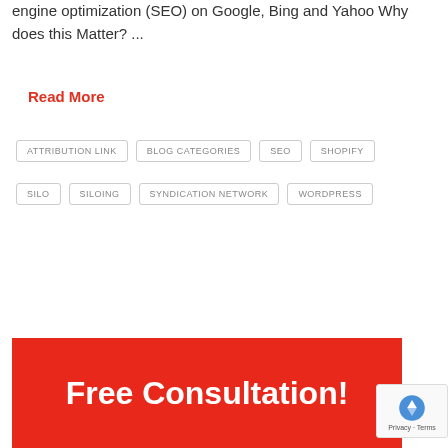engine optimization (SEO) on Google, Bing and Yahoo Why does this Matter? ...
Read More
ATTRIBUTION LINK
BLOG CATEGORIES
SEO
SHOPIFY
SILO
SILOING
SYNDICATION NETWORK
WORDPRESS
Free Consultation!